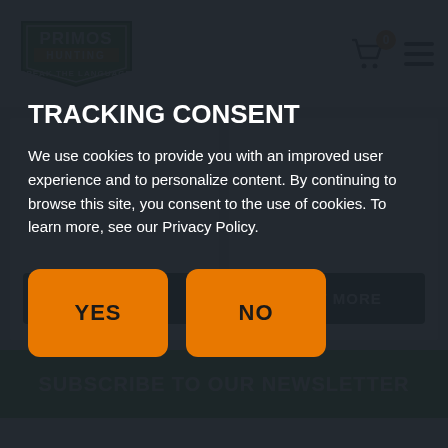Primos Hunting - Speak The Language
[Figure (screenshot): Two product cards each with a VIEW MORE button on a light grey background]
SUBSCRIBE TO OUR NEWSLETTER
TRACKING CONSENT
We use cookies to provide you with an improved user experience and to personalize content. By continuing to browse this site, you consent to the use of cookies. To learn more, see our Privacy Policy.
YES
NO